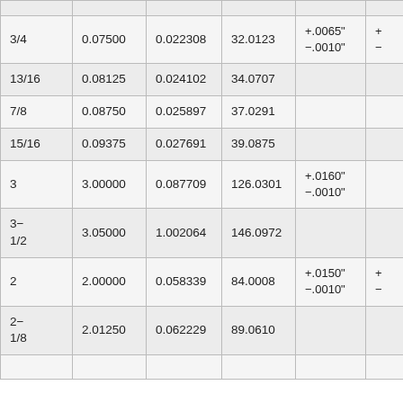|  |  |  |  |  |  |
| --- | --- | --- | --- | --- | --- |
| 3/4 | 0.07500 | 0.022308 | 32.0123 | +.0065"
−.0010" | +
− |
| 13/16 | 0.08125 | 0.024102 | 34.0707 |  |  |
| 7/8 | 0.08750 | 0.025897 | 37.0291 |  |  |
| 15/16 | 0.09375 | 0.027691 | 39.0875 |  |  |
| 3 | 3.00000 | 0.087709 | 126.0301 | +.0160"
−.0010" |  |
| 3−1/2 | 3.05000 | 1.002064 | 146.0972 |  |  |
| 2 | 2.00000 | 0.058339 | 84.0008 | +.0150"
−.0010" | +
− |
| 2−1/8 | 2.01250 | 0.062229 | 89.0610 |  |  |